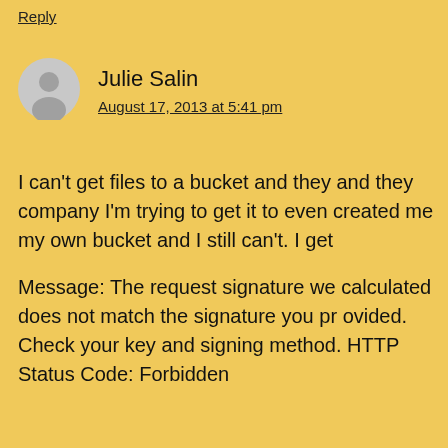Reply
Julie Salin
August 17, 2013 at 5:41 pm
I can't get files to a bucket and they and they company I'm trying to get it to even created me my own bucket and I still can't. I get
Message: The request signature we calculated does not match the signature you pr ovided. Check your key and signing method. HTTP Status Code: Forbidden